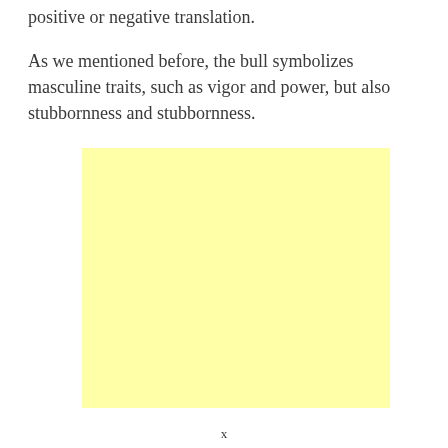positive or negative translation.
As we mentioned before, the bull symbolizes masculine traits, such as vigor and power, but also stubbornness and stubbornness.
[Figure (illustration): A light yellow rectangular image placeholder]
x